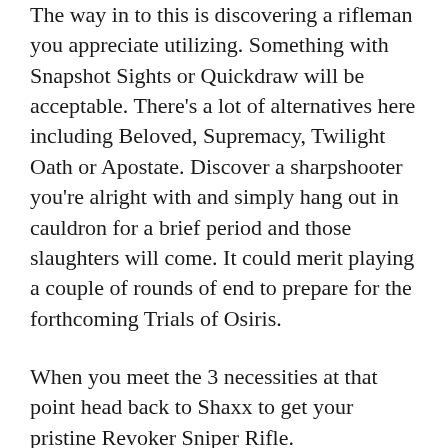The way in to this is discovering a rifleman you appreciate utilizing. Something with Snapshot Sights or Quickdraw will be acceptable. There's a lot of alternatives here including Beloved, Supremacy, Twilight Oath or Apostate. Discover a sharpshooter you're alright with and simply hang out in cauldron for a brief period and those slaughters will come. It could merit playing a couple of rounds of end to prepare for the forthcoming Trials of Osiris.
When you meet the 3 necessities at that point head back to Shaxx to get your pristine Revoker Sniper Rifle.
The fundamental advantage on this weapon is called Reversal of Fortune. Assuming you miss a shot, it will add another projectile back in the chamber a